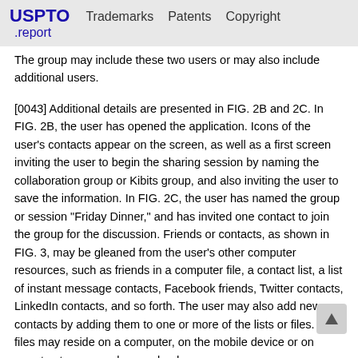USPTO .report   Trademarks   Patents   Copyright
The group may include these two users or may also include additional users.
[0043] Additional details are presented in FIG. 2B and 2C. In FIG. 2B, the user has opened the application. Icons of the user's contacts appear on the screen, as well as a first screen inviting the user to begin the sharing session by naming the collaboration group or Kibits group, and also inviting the user to save the information. In FIG. 2C, the user has named the group or session "Friday Dinner," and has invited one contact to join the group for the discussion. Friends or contacts, as shown in FIG. 3, may be gleaned from the user's other computer resources, such as friends in a computer file, a contact list, a list of instant message contacts, Facebook friends, Twitter contacts, LinkedIn contacts, and so forth. The user may also add new contacts by adding them to one or more of the lists or files. The files may reside on a computer, on the mobile device or on remote storage, such as a cloud